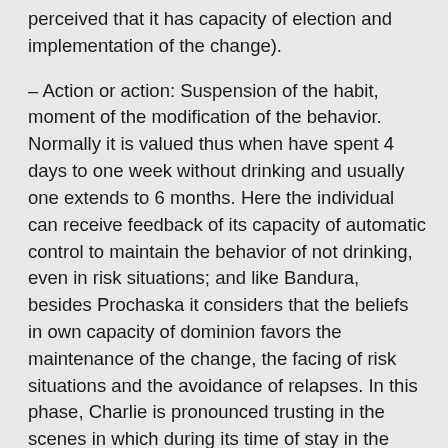perceived that it has capacity of election and implementation of the change).
– Action or action: Suspension of the habit, moment of the modification of the behavior. Normally it is valued thus when have spent 4 days to one week without drinking and usually one extends to 6 months. Here the individual can receive feedback of its capacity of automatic control to maintain the behavior of not drinking, even in risk situations; and like Bandura, besides Prochaska it considers that the beliefs in own capacity of dominion favors the maintenance of the change, the facing of risk situations and the avoidance of relapses. In this phase, Charlie is pronounced trusting in the scenes in which during its time of stay in the cafeteria or with its friendly to which cracks small jokes on requesting one cotoots some that another time being able to overcome the